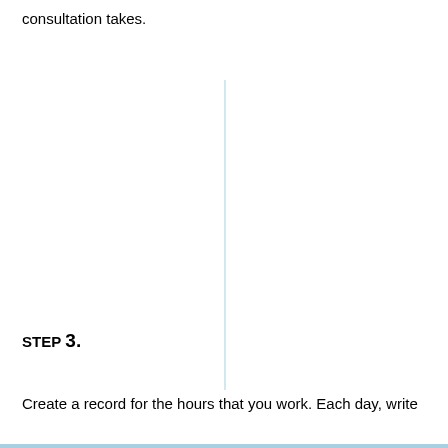consultation takes.
[Figure (other): A thin vertical light blue line dividing the page roughly in the center, spanning from near the top to about three-quarters down the page.]
STEP 3.
Create a record for the hours that you work. Each day, write